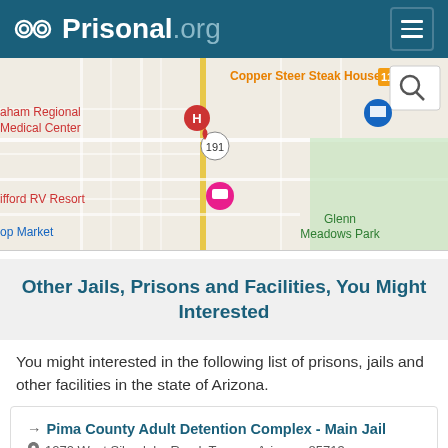Prisonal.org
[Figure (map): Google Maps view showing Safford Arizona area with markers for Graham Regional Medical Center, Safford RV Resort, Co-op Market, Copper Steer Steak House, Glenn Meadows Park, and highway 191.]
Other Jails, Prisons and Facilities, You Might Interested
You might interested in the following list of prisons, jails and other facilities in the state of Arizona.
Pima County Adult Detention Complex - Main Jail
1270 West Silverlake Road, Tuscon, Arizona, 85713